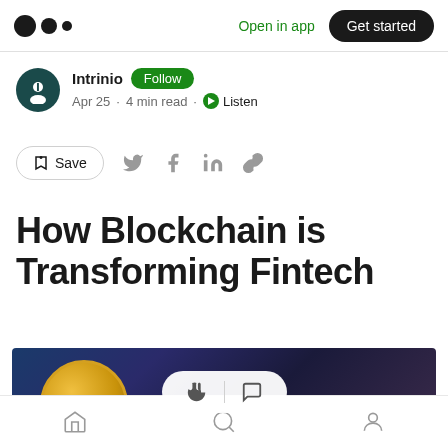Medium app header with logo, Open in app link, and Get started button
Intrinio · Follow · Apr 25 · 4 min read · Listen
[Figure (screenshot): Action bar with Save button and social share icons for Twitter, Facebook, LinkedIn, and link]
How Blockchain is Transforming Fintech
[Figure (photo): Hero image showing a gold Bitcoin coin against a dark blue/purple blurred background, with a floating pill overlay containing clap and comment icons]
Bottom navigation bar with home, search, and profile icons